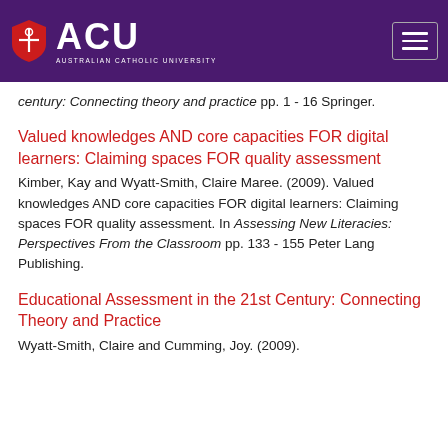[Figure (logo): ACU (Australian Catholic University) logo with shield and text on purple header background, plus hamburger menu icon]
century: Connecting theory and practice pp. 1 - 16 Springer.
Valued knowledges AND core capacities FOR digital learners: Claiming spaces FOR quality assessment
Kimber, Kay and Wyatt-Smith, Claire Maree. (2009). Valued knowledges AND core capacities FOR digital learners: Claiming spaces FOR quality assessment. In Assessing New Literacies: Perspectives From the Classroom pp. 133 - 155 Peter Lang Publishing.
Educational Assessment in the 21st Century: Connecting Theory and Practice
Wyatt-Smith, Claire and Cumming, Joy. (2009).